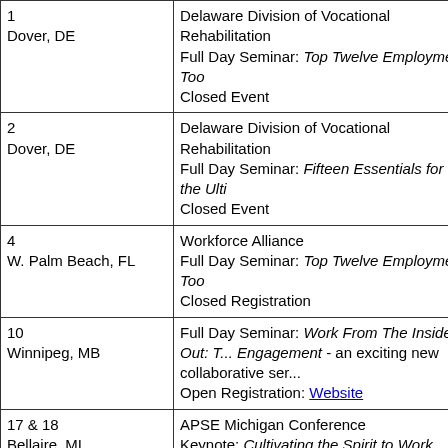| Date/Location | Event Details |
| --- | --- |
| 1
Dover, DE | Delaware Division of Vocational Rehabilitation
Full Day Seminar: Top Twelve Employment Too...
Closed Event |
| 2
Dover, DE | Delaware Division of Vocational Rehabilitation
Full Day Seminar: Fifteen Essentials for the Ulti...
Closed Event |
| 4
W. Palm Beach, FL | Workforce Alliance
Full Day Seminar: Top Twelve Employment Too...
Closed Registration |
| 10
Winnipeg, MB | Full Day Seminar: Work From The Inside Out: T... Engagement - an exciting new collaborative ser...
Open Registration: Website |
| 17 & 18
Bellaire, MI | APSE Michigan Conference
Keynote: Cultivating the Spirit to Work
Workshops: Beyond Traditional Job Developme... Employers, Resolving Employers Concerns abo... Disabilities.
Open Registration: Website |
| May 2008 |  |
| 3
Winnipeg, MB | SCE Lifeworks
Full Day Seminar: Rekindle the Flame |